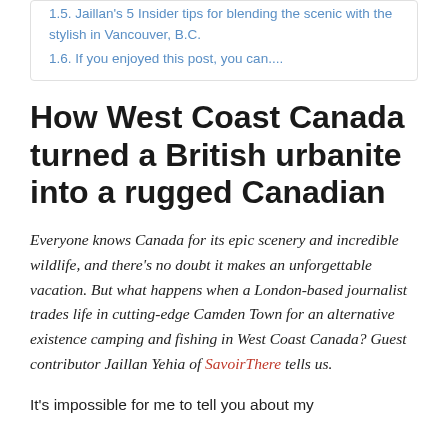1.5. Jaillan's 5 Insider tips for blending the scenic with the stylish in Vancouver, B.C.
1.6. If you enjoyed this post, you can....
How West Coast Canada turned a British urbanite into a rugged Canadian
Everyone knows Canada for its epic scenery and incredible wildlife, and there's no doubt it makes an unforgettable vacation. But what happens when a London-based journalist trades life in cutting-edge Camden Town for an alternative existence camping and fishing in West Coast Canada? Guest contributor Jaillan Yehia of SavoirThere tells us.
It's impossible for me to tell you about my